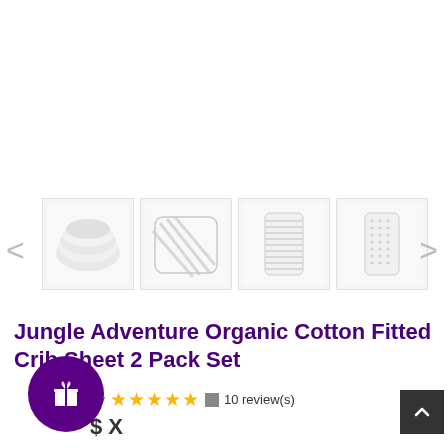[Figure (photo): Product thumbnail gallery showing white crib sheets - folded sheets, rolled fabric, striped pattern sheet on crib mattress, and dotted pattern sheet on crib mattress. Navigation arrows on left and right. Scroll-up button top right.]
Jungle Adventure Organic Cotton Fitted Crib Sheet 2 Pack Set
Average rating: 4.5 stars  10 review(s)
$ X